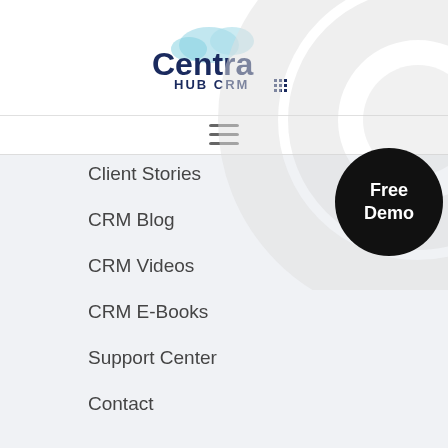[Figure (logo): Centra Hub CRM logo with cloud graphic above text]
[Figure (illustration): Hamburger menu icon (three horizontal lines)]
[Figure (illustration): Decorative concentric circles in light grey on right side]
[Figure (illustration): Black circular button with white text reading 'Free Demo']
Client Stories
CRM Blog
CRM Videos
CRM E-Books
Support Center
Contact
Available On
[Figure (illustration): Download on the App Store badge (black rounded rectangle with Apple logo and text)]
[Figure (illustration): Orange circular chat/support button at bottom right]